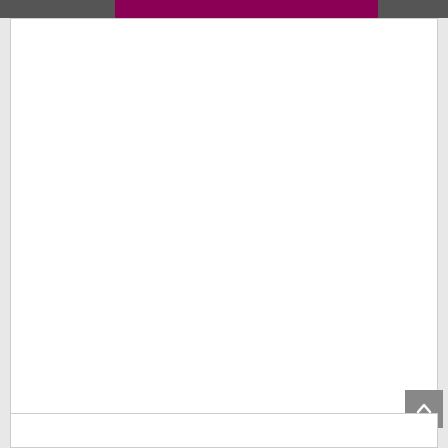[Figure (screenshot): Top navigation header bar with dark gray left block, deep magenta/maroon center block, and dark gray right block]
[Figure (screenshot): Large white content area box with border]
LABELS
>> Admit Card
>> BANK JOBS
>> DEFENCE JOBS
>> GOVT JOBS
>> Railway Jobs
>> STATE JOBS
[Figure (screenshot): Scroll-to-top button (gray background with upward chevron arrow)]
[Figure (screenshot): Bottom white content area box with border]